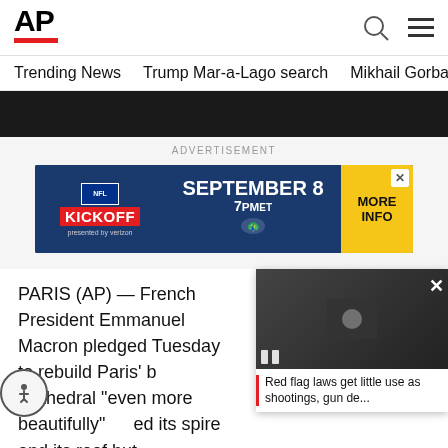[Figure (logo): AP (Associated Press) logo with red bar beneath]
Trending News   Trump Mar-a-Lago search   Mikhail Gorbachev d
[Figure (photo): Dark strip image at top of article]
ADVERTISEMENT
[Figure (infographic): NFL KICKOFF advertisement banner: SEPTEMBER 8 7PMet, MORE INFO, presented by Verizon]
PARIS (AP) — French President Emmanuel Macron pledged Tuesday to rebuild Paris' beloved Notre Dame Cathedral "even more beautifully" after a fire destroyed its spire and its roof but spared its stone structure, including the church's two medieval towers.
Macron said he wanted to see the
[Figure (screenshot): Floating video overlay showing news thumbnail with caption: Red flag laws get little use as shootings, gun de...]